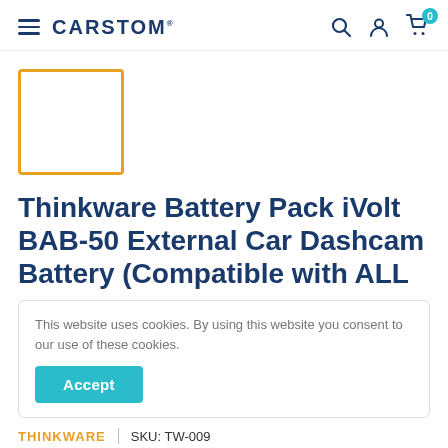CARSTOM
[Figure (other): Product thumbnail placeholder with orange border]
Thinkware Battery Pack iVolt BAB-50 External Car Dashcam Battery (Compatible with ALL
This website uses cookies. By using this website you consent to our use of these cookies.
Accept
THINKWARE  |  SKU: TW-009